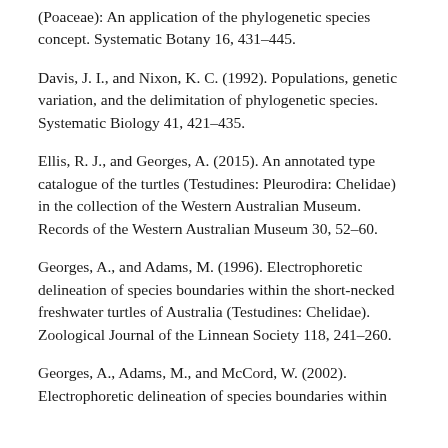(Poaceae): An application of the phylogenetic species concept. Systematic Botany 16, 431–445.
Davis, J. I., and Nixon, K. C. (1992). Populations, genetic variation, and the delimitation of phylogenetic species. Systematic Biology 41, 421–435.
Ellis, R. J., and Georges, A. (2015). An annotated type catalogue of the turtles (Testudines: Pleurodira: Chelidae) in the collection of the Western Australian Museum. Records of the Western Australian Museum 30, 52–60.
Georges, A., and Adams, M. (1996). Electrophoretic delineation of species boundaries within the short-necked freshwater turtles of Australia (Testudines: Chelidae). Zoological Journal of the Linnean Society 118, 241–260.
Georges, A., Adams, M., and McCord, W. (2002). Electrophoretic delineation of species boundaries within some species (Testudines: Chelidae: Myuchelys…